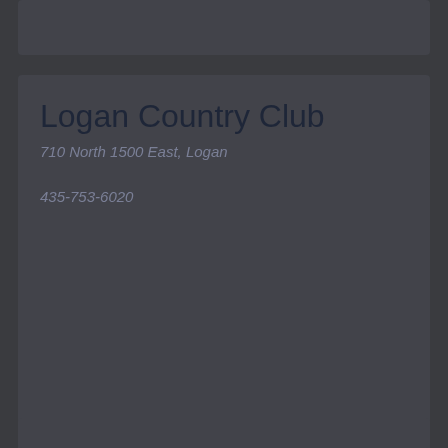Logan Country Club
710 North 1500 East, Logan
435-753-6020
Logan River Golf Course
550 W 1000 S, Logan
435-750-0123